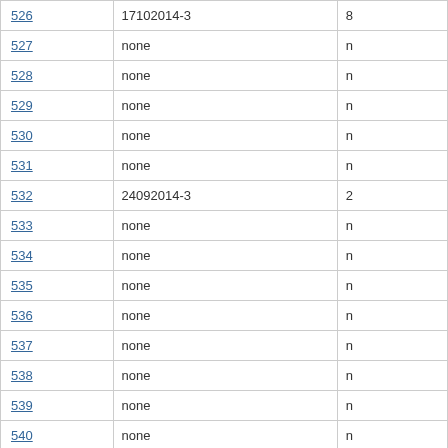| ID | Date | Value |
| --- | --- | --- |
| 526 | 17102014-3 | 8 |
| 527 | none | n |
| 528 | none | n |
| 529 | none | n |
| 530 | none | n |
| 531 | none | n |
| 532 | 24092014-3 | 2 |
| 533 | none | n |
| 534 | none | n |
| 535 | none | n |
| 536 | none | n |
| 537 | none | n |
| 538 | none | n |
| 539 | none | n |
| 540 | none | n |
| 541 | none | n |
| 542 | none | n |
| 543 | none | n |
| 544 | none | n |
| 545 | none | n |
| 546 | none | n |